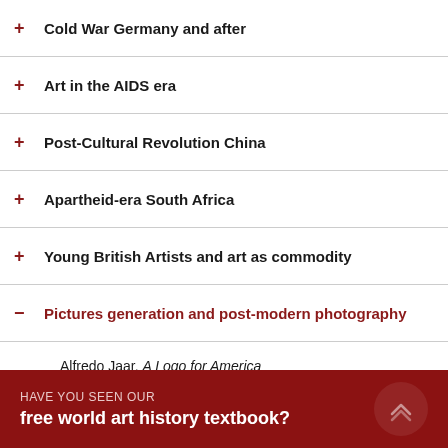+ Cold War Germany and after
+ Art in the AIDS era
+ Post-Cultural Revolution China
+ Apartheid-era South Africa
+ Young British Artists and art as commodity
− Pictures generation and post-modern photography
Alfredo Jaar, A Logo for America
Barbara Kruger, Untitled (Your gaze hits the side of my face)
Jeff Wall, A View from an Apartment
Sally Mann, Blowing Bubbles
The Pictures Generation
− Cindy Sherman
Untitled Film Still #21
Untitled #228
HAVE YOU SEEN OUR free world art history textbook?